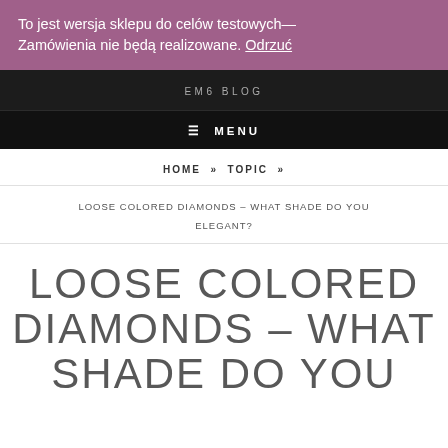To jest wersja sklepu do celów testowych— Zamówienia nie będą realizowane. Odrzuć
EM6 BLOG
≡ MENU
HOME » TOPIC »
LOOSE COLORED DIAMONDS – WHAT SHADE DO YOU ELEGANT?
LOOSE COLORED DIAMONDS – WHAT SHADE DO YOU